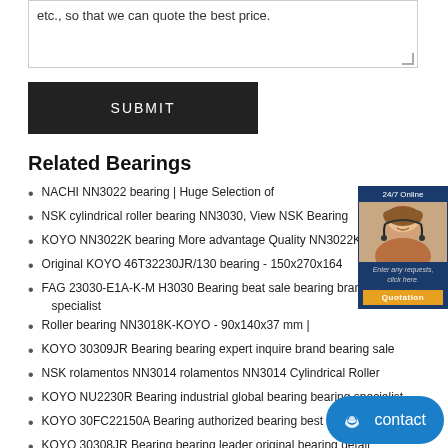etc., so that we can quote the best price.
SUBMIT
Related Bearings
NACHI NN3022 bearing | Huge Selection of
NSK cylindrical roller bearing NN3030, View NSK Bearing
KOYO NN3022K bearing More advantage Quality NN3022K
Original KOYO 46T32230JR/130 bearing - 150x270x164
FAG 23030-E1A-K-M H3030 Bearing beat sale bearing brand bearing specialist
Roller bearing NN3018K-KOYO - 90x140x37 mm |
KOYO 30309JR Bearing bearing expert inquire brand bearing sale
NSK rolamentos NN3014 rolamentos NN3014 Cylindrical Roller
KOYO NU2230R Bearing industrial global bearing bearing specialist
KOYO 30FC22150A Bearing authorized bearing best bearing supplier
KOYO 30308JR Bearing bearing leader original bearing detail
FAG 23030-E1-K-TVPB H3030 Bearing bearing manufacturer bearing
KOYO 22222RHR Bearing bearing sale inquiry bearing size consult